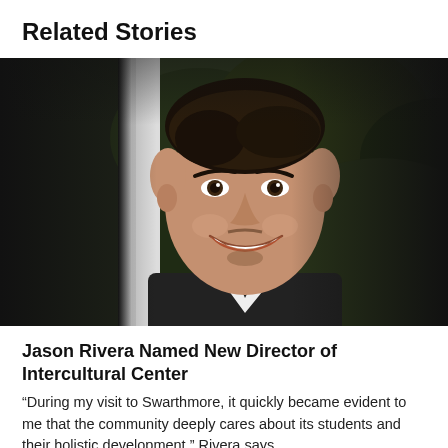Related Stories
[Figure (photo): Portrait photograph of Jason Rivera, a smiling man in a dark suit with short dark hair, photographed against a dark green leafy background with a white column visible on the left side.]
Jason Rivera Named New Director of Intercultural Center
“During my visit to Swarthmore, it quickly became evident to me that the community deeply cares about its students and their holistic development,” Rivera says.